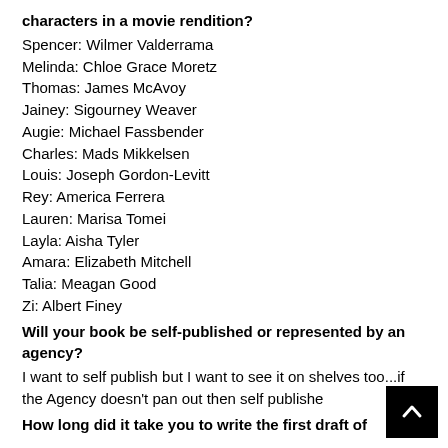characters in a movie rendition?
Spencer: Wilmer Valderrama
Melinda: Chloe Grace Moretz
Thomas: James McAvoy
Jainey: Sigourney Weaver
Augie: Michael Fassbender
Charles: Mads Mikkelsen
Louis: Joseph Gordon-Levitt
Rey: America Ferrera
Lauren: Marisa Tomei
Layla: Aisha Tyler
Amara: Elizabeth Mitchell
Talia: Meagan Good
Zi: Albert Finey
Will your book be self-published or represented by an agency?
I want to self publish but I want to see it on shelves too...if the Agency doesn't pan out then self publishe
How long did it take you to write the first draft of